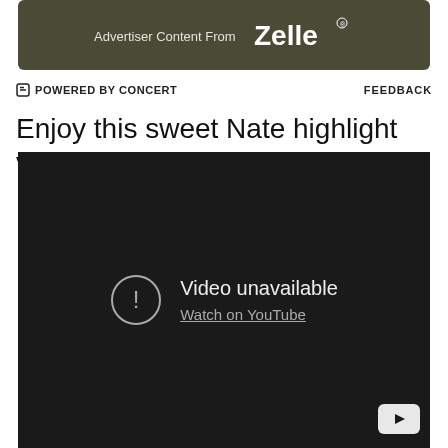[Figure (screenshot): Advertiser Content From Zelle banner with dark olive/brown background and white Zelle logo]
POWERED BY CONCERT    FEEDBACK
Enjoy this sweet Nate highlight video:
[Figure (screenshot): Embedded YouTube video player showing 'Video unavailable' message with 'Watch on YouTube' link, dark background, YouTube logo in bottom right corner]